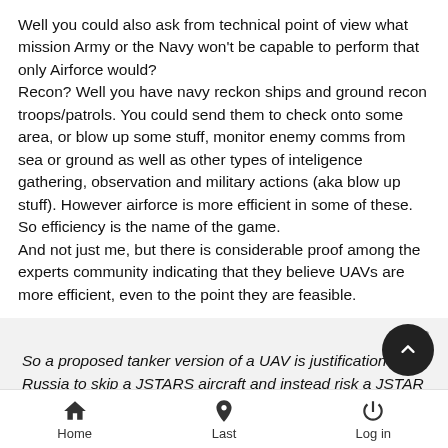Well you could also ask from technical point of view what mission Army or the Navy won't be capable to perform that only Airforce would?
Recon? Well you have navy reckon ships and ground recon troops/patrols. You could send them to check onto some area, or blow up some stuff, monitor enemy comms from sea or ground as well as other types of inteligence gathering, observation and military actions (aka blow up stuff). However airforce is more efficient in some of these. So efficiency is the name of the game.
And not just me, but there is considerable proof among the experts community indicating that they believe UAVs are more efficient, even to the point they are feasible.
So a proposed tanker version of a UAV is justification for Russia to skip a JSTARS aircraft and instead risk a JSTAR UAV.
Home | Last | Log in